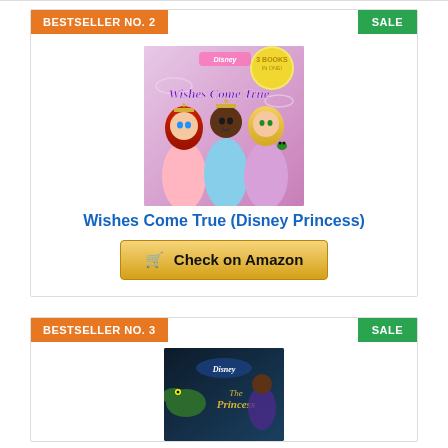[Figure (other): Bestseller No. 2 card with orange badge top-left and green SALE badge top-right. Shows Disney Princess 'Wishes Come True' book cover with Ariel, Tiana, and Rapunzel on pink/purple background with '3 Books in One!' banner. Below the image is a bold blue title and a gold 'Check on Amazon' button.]
Wishes Come True (Disney Princess)
[Figure (other): Bestseller No. 3 card with orange badge top-left and green SALE badge top-right. Shows beginning of Disney Princess and the Frog book cover with darker tones, partially visible.]